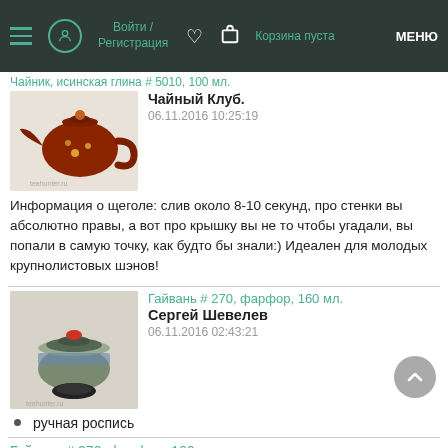Войти / Регистрация | Корзина пуста | МЕНЮ
Чайник, исинская глина # 5010, 100 мл.
Чайный Клуб.
06.11.2016 10:25:19
Информация о щеголе: слив около 8-10 секунд, про стенки вы абсолютно правы, а вот про крышку вы не то чтобы угадали, вы попали в самую точку, как будто бы знали:) Идеален для молодых крупнолистовых шэнов!
Гайвань # 270, фарфор, 160 мл.
Сергей Шевелев
06.11.2016 02:43:21
ручная роспись
Гайвань # 270, фарфор, 160 мл.